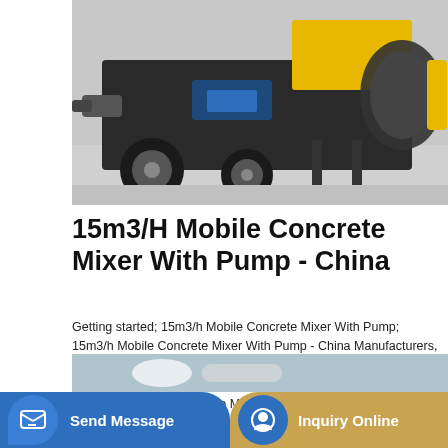[Figure (photo): A mobile concrete mixer with pump mounted on a wheeled trailer frame, shown in a warehouse/facility setting. The machine has a large mixing drum and hydraulic pump assembly.]
15m3/H Mobile Concrete Mixer With Pump - China
Getting started; 15m3/h Mobile Concrete Mixer With Pump; 15m3/h Mobile Concrete Mixer With Pump - China Manufacturers, Factory, Suppliers. Our commission is to serve our users and clients with best quality and competitive portable digital products for 15m3/h Mobile Concrete Mixer With Pump, Beton Pan Mixer, Co Nele Refractory Mixer, Conele Refractory Mixer,Conele Mp Planetary Concrete Mixer.
Learn More
[Figure (photo): Partial view of another product image at the bottom of the page.]